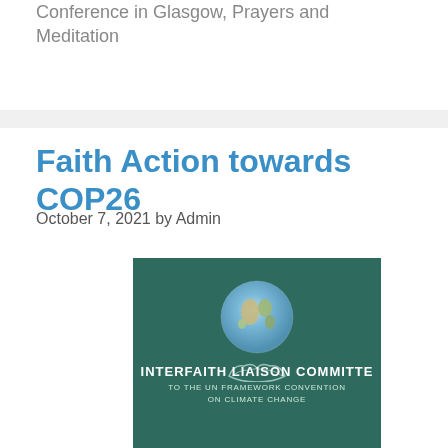Conference in Glasgow, Prayers and Meditation
Faith Action towards COP26
October 7, 2021 by Admin
[Figure (illustration): Interfaith Liaison Committee to the UN Framework Convention on Climate Change logo — dark teal/green background with a globe image centered above an outstretched hand illustration, text reads INTERFAITH LIAISON COMMITTEE TO THE UN FRAMEWORK CONVENTION ON CLIMATE CHANGE]